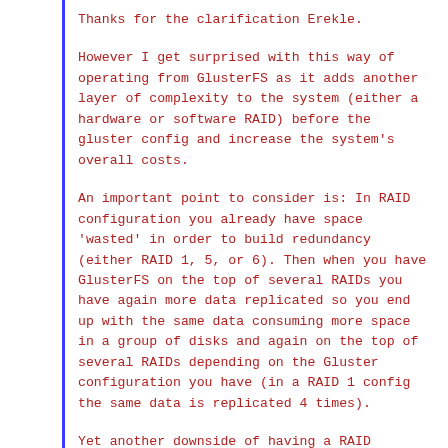Thanks for the clarification Erekle.
However I get surprised with this way of operating from GlusterFS as it adds another layer of complexity to the system (either a hardware or software RAID) before the gluster config and increase the system's overall costs.
An important point to consider is: In RAID configuration you already have space 'wasted' in order to build redundancy (either RAID 1, 5, or 6). Then when you have GlusterFS on the top of several RAIDs you have again more data replicated so you end up with the same data consuming more space in a group of disks and again on the top of several RAIDs depending on the Gluster configuration you have (in a RAID 1 config the same data is replicated 4 times).
Yet another downside of having a RAID (specially RAID 5 or 6) is that it reduces